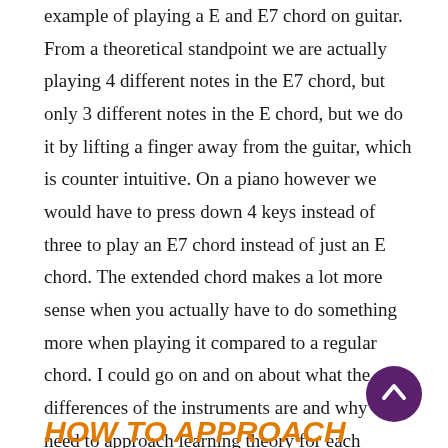example of playing a E and E7 chord on guitar. From a theoretical standpoint we are actually playing 4 different notes in the E7 chord, but only 3 different notes in the E chord, but we do it by lifting a finger away from the guitar, which is counter intuitive. On a piano however we would have to press down 4 keys instead of three to play an E7 chord instead of just an E chord. The extended chord makes a lot more sense when you actually have to do something more when playing it compared to a regular chord. I could go on and on about what the differences of the instruments are and why we need to approach learning theory for each instrument in different ways, but I think you get the idea.
HOW TO APPROACH